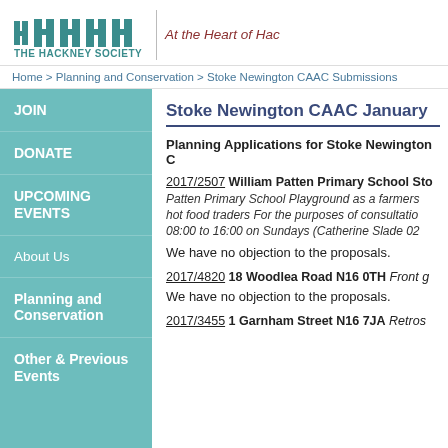THE HACKNEY SOCIETY | At the Heart of Hackney
Home > Planning and Conservation > Stoke Newington CAAC Submissions
JOIN
DONATE
UPCOMING EVENTS
About Us
Planning and Conservation
Other & Previous Events
Stoke Newington CAAC January
Planning Applications for Stoke Newington C
2017/2507 William Patten Primary School Sto Patten Primary School Playground as a farmers hot food traders For the purposes of consultatio 08:00 to 16:00 on Sundays (Catherine Slade 02
We have no objection to the proposals.
2017/4820 18 Woodlea Road N16 0TH Front g
We have no objection to the proposals.
2017/3455 1 Garnham Street N16 7JA Retros